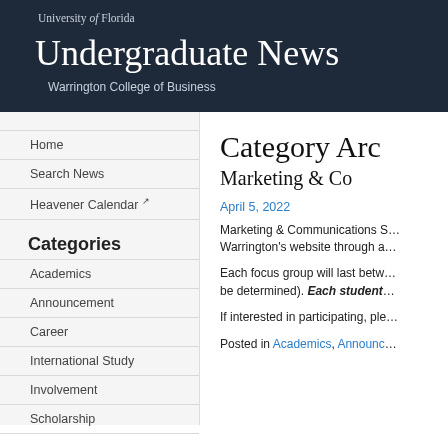University of Florida
Undergraduate News
Warrington College of Business
Home
Search News
Heavener Calendar ↗
Categories
Academics
Announcement
Career
International Study
Involvement
Scholarship
Category Arc…
Marketing & Co…
April 5, 2022
Marketing & Communications S… Warrington's website through a…
Each focus group will last betw… be determined). Each student…
If interested in participating, ple…
Posted in Academics, Announc…